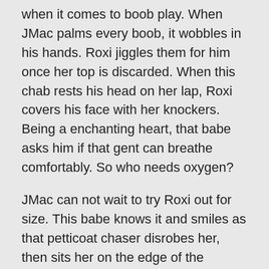when it comes to boob play. When JMac palms every boob, it wobbles in his hands. Roxi jiggles them for him once her top is discarded. When this chab rests his head on her lap, Roxi covers his face with her knockers. Being a enchanting heart, that babe asks him if that gent can breathe comfortably. So who needs oxygen?
JMac can not wait to try Roxi out for size. This babe knows it and smiles as that petticoat chaser disrobes her, then sits her on the edge of the ottoman, dropping trou and feeding her his meat-thermometer. Roxi steals glances at the digi camera when his knob disappears inside her cleavage, first as this babe is sitting and then when that chap straddles her on the sofa for the classic tit-fucking position. JMac moves from betwixt Roxi's king-size mams straight into her vagina and gives her the ride she so richly deserves